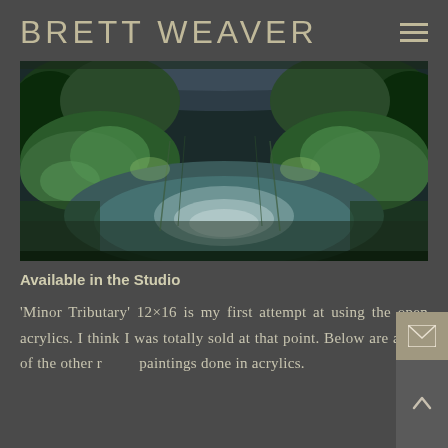BRETT WEAVER
[Figure (photo): Landscape painting of a minor tributary with lush green vegetation, trees, and still water reflecting light. Dark moody tones with greens and teals.]
Available in the Studio
'Minor Tributary' 12×16 is my first attempt at using the open acrylics. I think I was totally sold at that point. Below are a few of the other recent paintings done in acrylics.